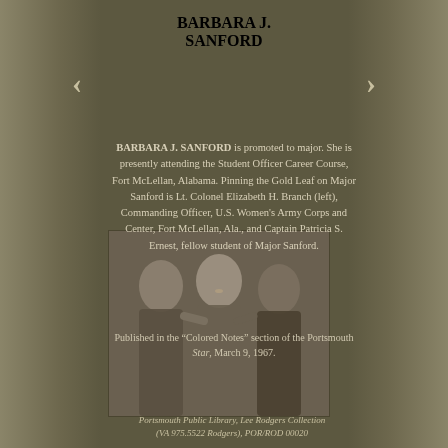BARBARA J. SANFORD
BARBARA J. SANFORD is promoted to major. She is presently attending the Student Officer Career Course, Fort McLellan, Alabama. Pinning the Gold Leaf on Major Sanford is Lt. Colonel Elizabeth H. Branch (left), Commanding Officer, U.S. Women's Army Corps and Center, Fort McLellan, Ala., and Captain Patricia S. Ernest, fellow student of Major Sanford.
[Figure (photo): Black and white photograph of three women, one in the center being pinned with a Gold Leaf insignia by two others flanking her.]
Published in the “Colored Notes” section of the Portsmouth Star, March 9, 1967.
Portsmouth Public Library, Lee Rodgers Collection (VA 975.5522 Rodgers), POR/ROD 00020